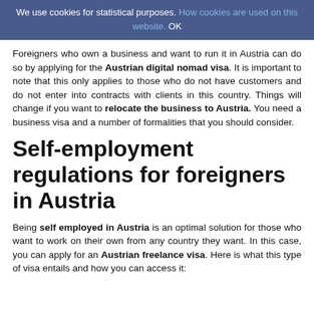We use cookies for statistical purposes. How cookies are used on this website. OK
Foreigners who own a business and want to run it in Austria can do so by applying for the Austrian digital nomad visa. It is important to note that this only applies to those who do not have customers and do not enter into contracts with clients in this country. Things will change if you want to relocate the business to Austria. You need a business visa and a number of formalities that you should consider.
Self-employment regulations for foreigners in Austria
Being self employed in Austria is an optimal solution for those who want to work on their own from any country they want. In this case, you can apply for an Austrian freelance visa. Here is what this type of visa entails and how you can access it: